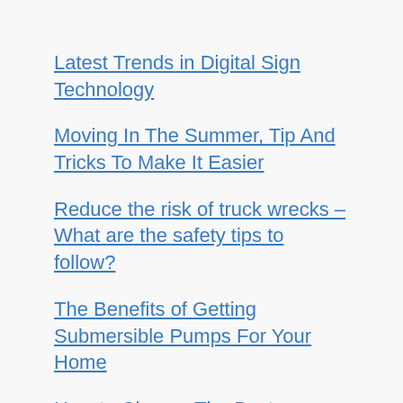Latest Trends in Digital Sign Technology
Moving In The Summer, Tip And Tricks To Make It Easier
Reduce the risk of truck wrecks – What are the safety tips to follow?
The Benefits of Getting Submersible Pumps For Your Home
How to Choose The Best Pearland SEO Agency for Your Business
Today News Centre is your one-stop-shop for all the latest news. Covering sports,